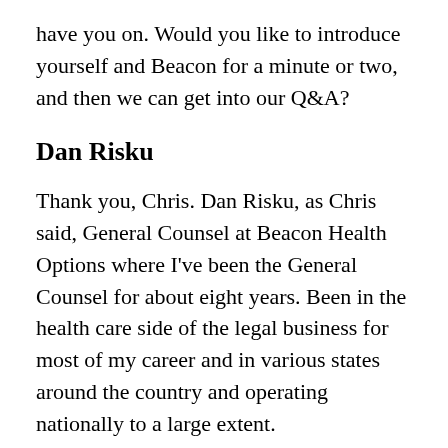have you on. Would you like to introduce yourself and Beacon for a minute or two, and then we can get into our Q&A?
Dan Risku
Thank you, Chris. Dan Risku, as Chris said, General Counsel at Beacon Health Options where I've been the General Counsel for about eight years. Been in the health care side of the legal business for most of my career and in various states around the country and operating nationally to a large extent.
Beacon Health Options, as Chris noted, is and